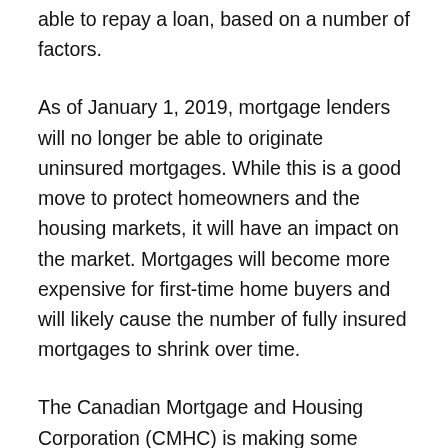able to repay a loan, based on a number of factors.
As of January 1, 2019, mortgage lenders will no longer be able to originate uninsured mortgages. While this is a good move to protect homeowners and the housing markets, it will have an impact on the market. Mortgages will become more expensive for first-time home buyers and will likely cause the number of fully insured mortgages to shrink over time.
The Canadian Mortgage and Housing Corporation (CMHC) is making some major changes to the insured stress test that lenders will have to comply with in the year 2021. In many ways, the changes